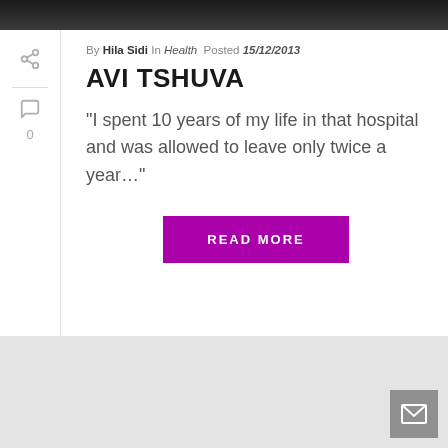[Figure (photo): Top portion of a photo showing a person in dark clothing, cropped to just the top band]
By Hila Sidi In Health Posted 15/12/2013
AVI TSHUVA
"I spent 10 years of my life in that hospital and was allowed to leave only twice a year..."
READ MORE
[Figure (screenshot): Bottom gray area with a dark gray mail/envelope button in bottom right corner]